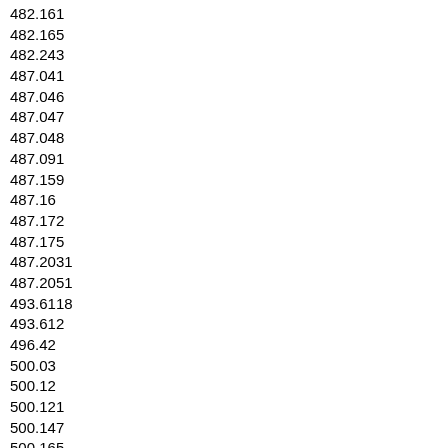482.161
482.165
482.243
487.041
487.046
487.047
487.048
487.091
487.159
487.16
487.172
487.175
487.2031
487.2051
493.6118
493.612
496.42
500.03
500.12
500.121
500.147
500.165
500.172
500.301
500.302
500.303
500.304
500.305
500.306